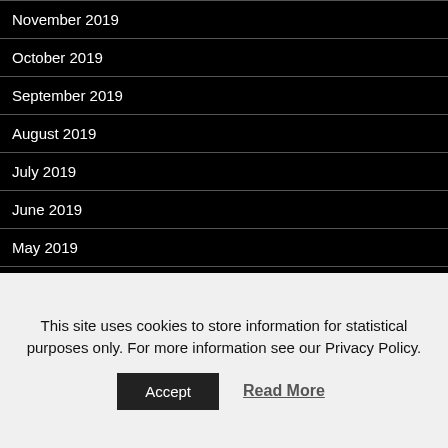November 2019
October 2019
September 2019
August 2019
July 2019
June 2019
May 2019
April 2019
March 2019
This site uses cookies to store information for statistical purposes only. For more information see our Privacy Policy.
Accept
Read More